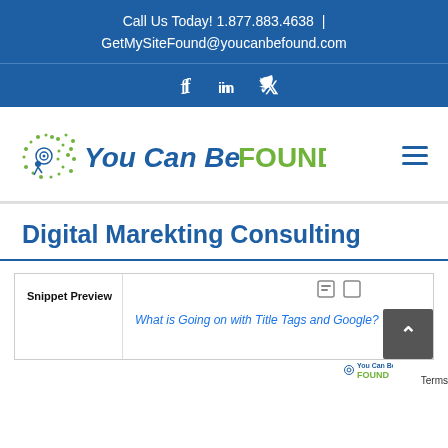Call Us Today! 1.877.883.4638 | GetMySiteFound@youcanbefound.com
[Figure (logo): Social media icons bar with Facebook, LinkedIn, and Twitter icons on blue background]
[Figure (logo): You Can Be FOUND company logo with target/bullseye dot graphic on left, 'You Can Be' in dark blue bold italic and 'FOUND' in green bold text]
Digital Marekting Consulting
Snippet Preview
What is Going on with Title Tags and Google?